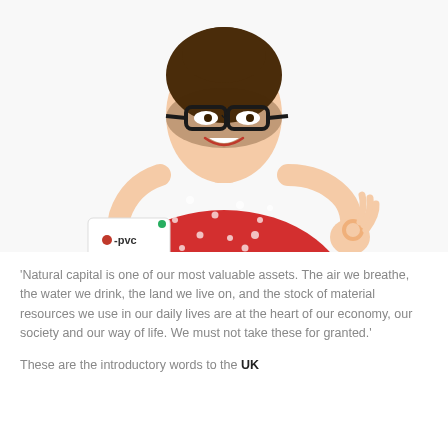[Figure (photo): A smiling woman with glasses wearing a red polka-dot top, holding a white card that reads 'zero-pvc' in one hand and making an OK sign with the other hand.]
'Natural capital is one of our most valuable assets. The air we breathe, the water we drink, the land we live on, and the stock of material resources we use in our daily lives are at the heart of our economy, our society and our way of life. We must not take these for granted.'
These are the introductory words to the UK Government's Resources and Waste Strategy. The…